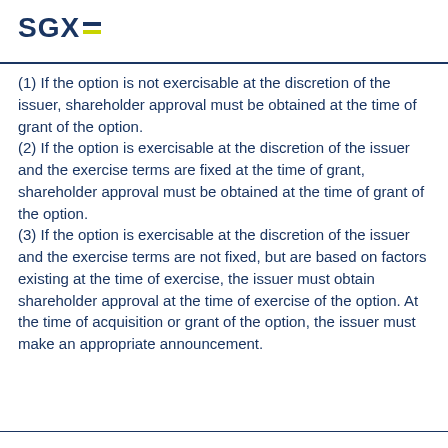[Figure (logo): SGX logo with blue SGX text and two horizontal lines (blue and yellow/green)]
(1) If the option is not exercisable at the discretion of the issuer, shareholder approval must be obtained at the time of grant of the option.
(2) If the option is exercisable at the discretion of the issuer and the exercise terms are fixed at the time of grant, shareholder approval must be obtained at the time of grant of the option.
(3) If the option is exercisable at the discretion of the issuer and the exercise terms are not fixed, but are based on factors existing at the time of exercise, the issuer must obtain shareholder approval at the time of exercise of the option. At the time of acquisition or grant of the option, the issuer must make an appropriate announcement.